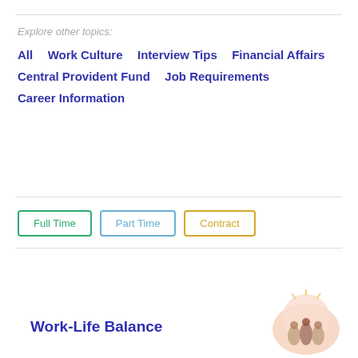Explore other topics:
All
Work Culture
Interview Tips
Financial Affairs
Central Provident Fund
Job Requirements
Career Information
Full Time | Part Time | Contract
Work-Life Balance